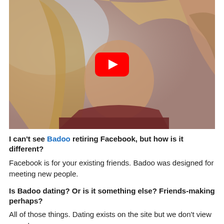[Figure (screenshot): Video thumbnail showing a blonde woman with a YouTube play button overlay in the center]
I can't see Badoo retiring Facebook, but how is it different?
Facebook is for your existing friends. Badoo was designed for meeting new people.
Is Badoo dating? Or is it something else? Friends-making perhaps?
All of those things. Dating exists on the site but we don't view ourselves